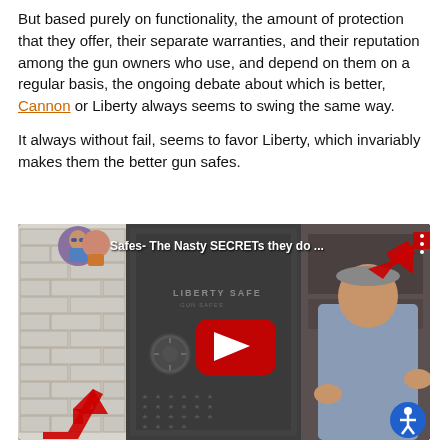But based purely on functionality, the amount of protection that they offer, their separate warranties, and their reputation among the gun owners who use, and depend on them on a regular basis, the ongoing debate about which is better, Cannon or Liberty always seems to swing the same way.
It always without fail, seems to favor Liberty, which invariably makes them the better gun safes.
[Figure (screenshot): YouTube video thumbnail showing a man standing next to a Liberty Safe with red arrows pointing at it. Text overlay reads 'Safes- The Nasty SECRETs they do ...' with a YouTube play button in the center. Accessibility icon in bottom right corner.]